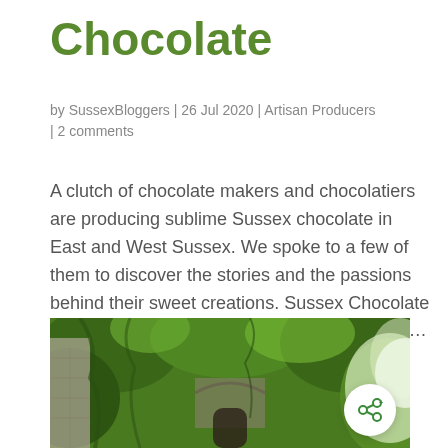Chocolate
by SussexBloggers | 26 Jul 2020 | Artisan Producers | 2 comments
A clutch of chocolate makers and chocolatiers are producing sublime Sussex chocolate in East and West Sussex. We spoke to a few of them to discover the stories and the passions behind their sweet creations. Sussex Chocolate We love to support our local businesses here...
[Figure (photo): A lush green garden wall covered in climbing plants and vines, with an archway visible, photographed from outside.]